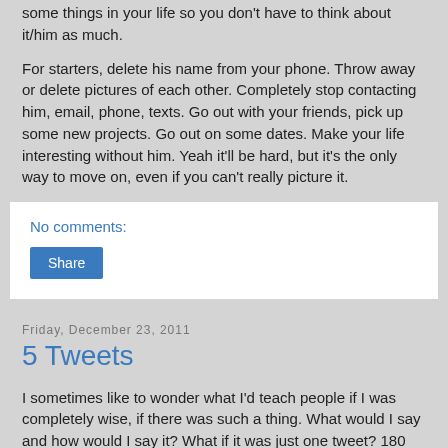some things in your life so you don't have to think about it/him as much.
For starters, delete his name from your phone. Throw away or delete pictures of each other. Completely stop contacting him, email, phone, texts. Go out with your friends, pick up some new projects. Go out on some dates. Make your life interesting without him. Yeah it'll be hard, but it's the only way to move on, even if you can't really picture it.
No comments:
Share
Friday, December 23, 2011
5 Tweets
I sometimes like to wonder what I'd teach people if I was completely wise, if there was such a thing. What would I say and how would I say it? What if it was just one tweet? 180 characters to impart profound wisdom is a difficult task.